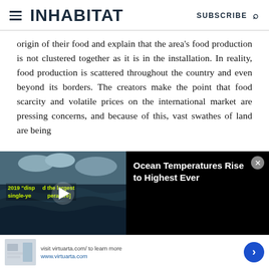INHABITAT  SUBSCRIBE
origin of their food and explain that the area’s food production is not clustered together as it is in the installation. In reality, food production is scattered throughout the country and even beyond its borders. The creators make the point that food scarcity and volatile prices on the international market are pressing concerns, and because of this, vast swathes of land are being
[Figure (screenshot): Video player thumbnail showing ocean waves with text overlay '2019 [disp...] the largest single-ye... perature]' in yellow-green, with a play button. Beside it on black background: title 'Ocean Temperatures Rise to Highest Ever' with a close (X) button.]
[Figure (screenshot): Advertisement bar at bottom showing a small product thumbnail image, text 'visit virtuarta.com/ to learn more www.virtuarta.com', and a blue circular arrow button on the right.]